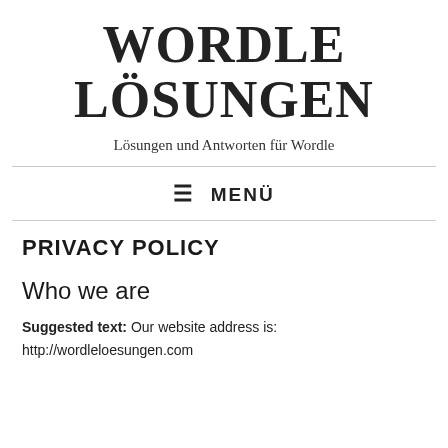WORDLE LÖSUNGEN
Lösungen und Antworten für Wordle
≡ MENÜ
PRIVACY POLICY
Who we are
Suggested text: Our website address is:
http://wordleloesungen.com